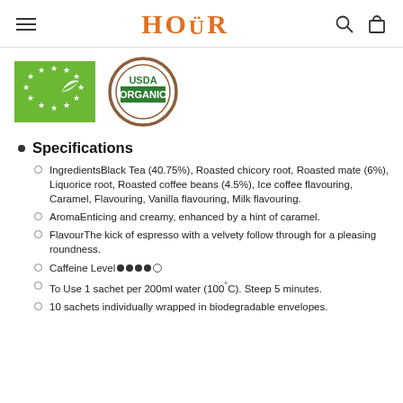HOÜR
[Figure (logo): EU Organic certification logo - green rectangle with white stars and leaf design]
[Figure (logo): USDA Organic certification badge - circular brown border with green USDA ORGANIC text]
Specifications
IngredientsBlack Tea (40.75%), Roasted chicory root, Roasted mate (6%), Liquorice root, Roasted coffee beans (4.5%), Ice coffee flavouring, Caramel, Flavouring, Vanilla flavouring, Milk flavouring.
AromaEnticing and creamy, enhanced by a hint of caramel.
FlavourThe kick of espresso with a velvety follow through for a pleasing roundness.
Caffeine Level● ● ● ● ○
To Use 1 sachet per 200ml water (100°C). Steep 5 minutes.
10 sachets individually wrapped in biodegradable envelopes.